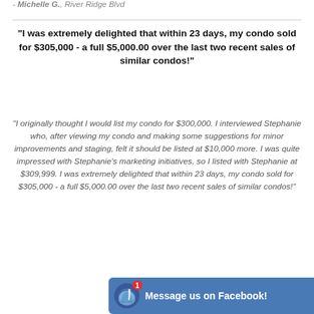- Michelle G., River Ridge Blvd
“I was extremely delighted that within 23 days, my condo sold for $305,000 - a full $5,000.00 over the last two recent sales of similar condos!”
“I originally thought I would list my condo for $300,000. I interviewed Stephanie who, after viewing my condo and making some suggestions for minor improvements and staging, felt it should be listed at $10,000 more. I was quite impressed with Stephanie’s marketing initiatives, so I listed with Stephanie at $309,999. I was extremely delighted that within 23 days, my condo sold for $305,000 - a full $5,000.00 over the last two recent sales of similar condos!”
Message us on Facebook!